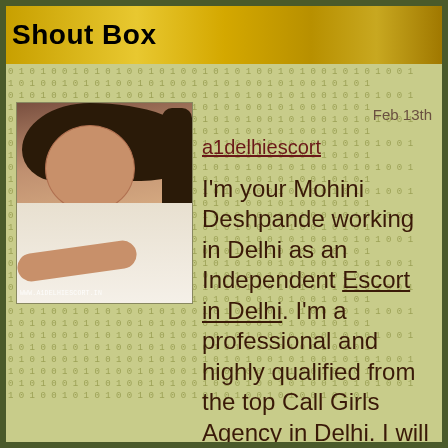Shout Box
[Figure (photo): Profile photo of a young woman lying on a bed with white sheets, website watermark visible]
Feb 13th
a1delhiescort
I'm your Mohini Deshpande working in Delhi as an Independent Escort in Delhi. I'm a professional and highly qualified from the top Call Girls Agency in Delhi. I will provide